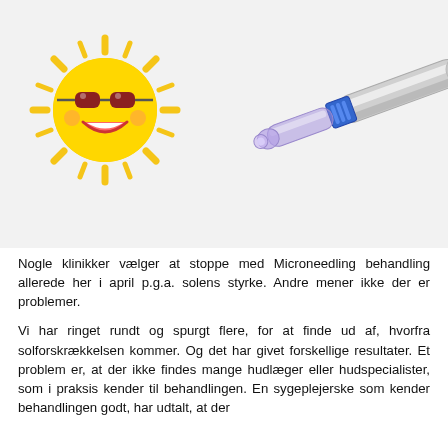[Figure (illustration): Illustration showing a cartoon smiling sun with red sunglasses in the upper left area, and a microneedling pen device (silver and blue derma pen) diagonally placed on the right side of the image area, on a light grey/white background.]
Nogle klinikker vælger at stoppe med Microneedling behandling allerede her i april p.g.a. solens styrke. Andre mener ikke der er problemer.
Vi har ringet rundt og spurgt flere, for at finde ud af, hvorfra solforskrækkelsen kommer. Og det har givet forskellige resultater. Et problem er, at der ikke findes mange hudlæger eller hudspecialister, som i praksis kender til behandlingen. En sygeplejerske som kender behandlingen godt, har udtalt, at der